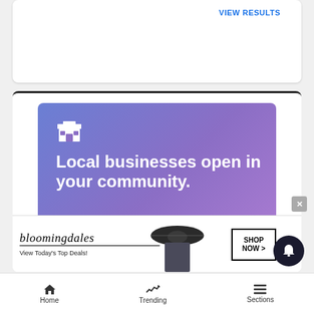VIEW RESULTS
[Figure (screenshot): Advertisement banner with blue-purple gradient background showing a store icon, text 'Local businesses open in your community.' and a CLICK HERE button]
[Figure (screenshot): Bloomingdale's advertisement banner showing logo, 'View Today's Top Deals!' text, a model with a hat, and SHOP NOW > button]
Home   Trending   Sections